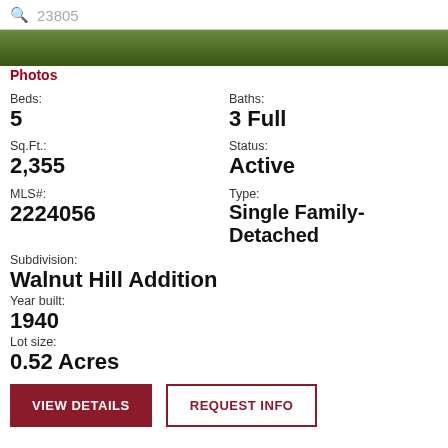23805
[Figure (photo): Aerial or exterior photo strip showing green vegetation/trees]
Photos
Beds:
5
Baths:
3 Full
Sq.Ft.:
2,355
Status:
Active
MLS#:
2224056
Type:
Single Family-Detached
Subdivision:
Walnut Hill Addition
Year built:
1940
Lot size:
0.52 Acres
VIEW DETAILS
REQUEST INFO